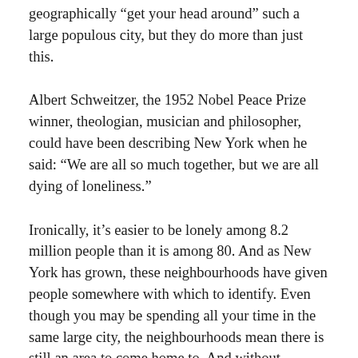geographically “get your head around” such a large populous city, but they do more than just this.
Albert Schweitzer, the 1952 Nobel Peace Prize winner, theologian, musician and philosopher, could have been describing New York when he said: “We are all so much together, but we are all dying of loneliness.”
Ironically, it’s easier to be lonely among 8.2 million people than it is among 80. And as New York has grown, these neighbourhoods have given people somewhere with which to identify. Even though you may be spending all your time in the same large city, the neighbourhoods mean there is still an area to come home to. And without somewhere to come home to, we cannot be at rest.
Something else quite noticeable was the appearance of Alliances. The SoHo Alliance, the Times Square Alli...